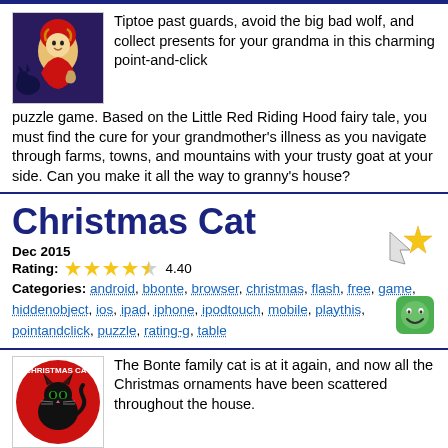Tiptoe past guards, avoid the big bad wolf, and collect presents for your grandma in this charming point-and-click puzzle game. Based on the Little Red Riding Hood fairy tale, you must find the cure for your grandmother's illness as you navigate through farms, towns, and mountains with your trusty goat at your side. Can you make it all the way to granny's house?
Christmas Cat
Dec 2015
Rating: 4.40
Categories: android, bbonte, browser, christmas, flash, free, game, hiddenobject, ios, ipad, iphone, ipodtouch, mobile, playthis, pointandclick, puzzle, rating-g, table
The Bonte family cat is at it again, and now all the Christmas ornaments have been scattered throughout the house. Track down all twenty of them, but beware... this clever feline has set up puzzles for you to contend